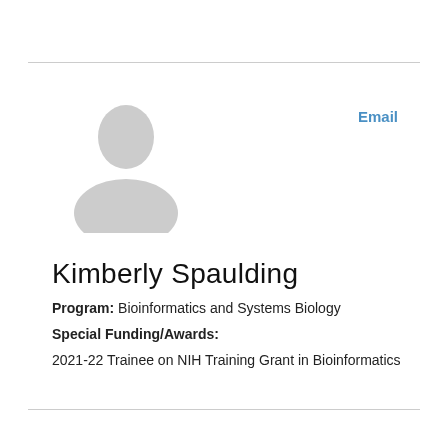[Figure (illustration): Generic placeholder person silhouette icon in light gray]
Email
Kimberly Spaulding
Program: Bioinformatics and Systems Biology
Special Funding/Awards:
2021-22 Trainee on NIH Training Grant in Bioinformatics